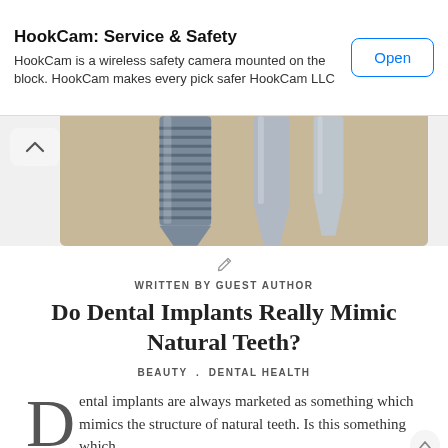HookCam: Service & Safety
HookCam is a wireless safety camera mounted on the block. HookCam makes every pick safer HookCam LLC
[Figure (photo): Close-up photo of dental implants (metallic screws/posts) on a beige background, partially visible at top of content area]
WRITTEN BY GUEST AUTHOR
Do Dental Implants Really Mimic Natural Teeth?
BEAUTY . DENTAL HEALTH
Dental implants are always marketed as something which mimics the structure of natural teeth. Is this something which